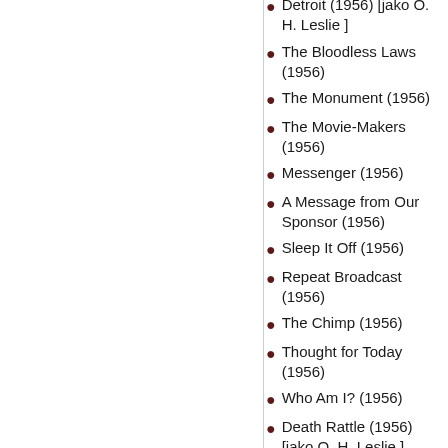Detroit (1956) [jako O. H. Leslie ]
The Bloodless Laws (1956)
The Monument (1956)
The Movie-Makers (1956)
Messenger (1956)
A Message from Our Sponsor (1956)
Sleep It Off (1956)
Repeat Broadcast (1956)
The Chimp (1956)
Thought for Today (1956)
Who Am I? (1956)
Death Rattle (1956) [jako O. H. Leslie ]
Coward's Death (1956) [jako Ivar Jorgensen ]
A Kiss for the Conqueror (1957) [jako Clyde